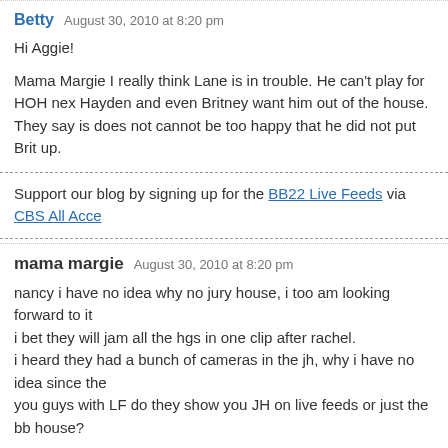Betty   August 30, 2010 at 8:20 pm
Hi Aggie!
Mama Margie I really think Lane is in trouble. He can't play for HOH next week and Hayden and even Britney want him out of the house. They say is does not cannot be too happy that he did not put Brit up.
Support our blog by signing up for the BB22 Live Feeds via CBS All Acce
mama margie   August 30, 2010 at 8:20 pm
nancy i have no idea why no jury house, i too am looking forward to it i bet they will jam all the hgs in one clip after rachel. i heard they had a bunch of cameras in the jh, why i have no idea since the you guys with LF do they show you JH on live feeds or just the bb house?
Support our blog by signing up for the BB22 Live Feeds via CBS All Acce